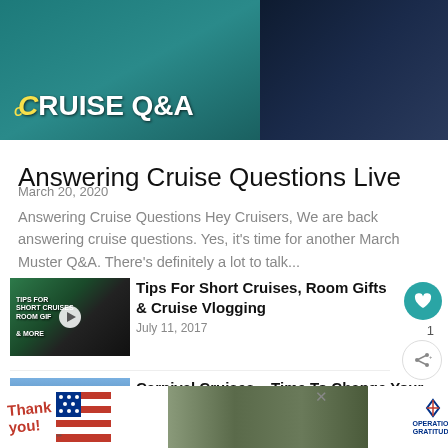[Figure (screenshot): Hero image showing 'CRUISE Q&A' text overlay on teal/dark background with a person in patterned clothing]
Answering Cruise Questions Live
March 20, 2020
Answering Cruise Questions Hey Cruisers, We are back answering cruise questions. Yes, it's time for another March Muster Q&A. There's definitely a lot to talk...
[Figure (screenshot): Thumbnail for 'Tips For Short Cruises, Room Gifts & Cruise Vlogging' article with play button]
Tips For Short Cruises, Room Gifts & Cruise Vlogging
July 11, 2017
[Figure (screenshot): Thumbnail for 'Carnival Cruises – Time To Change Your Mind?' article]
Carnival Cruises – Time To Change Your Mind?
[Figure (screenshot): Advertisement banner: 'Thank you!' with Operation Gratitude military charity ad]